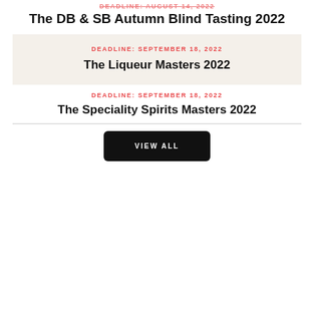DEADLINE: AUGUST 14, 2022
The DB & SB Autumn Blind Tasting 2022
DEADLINE: SEPTEMBER 18, 2022
The Liqueur Masters 2022
DEADLINE: SEPTEMBER 18, 2022
The Speciality Spirits Masters 2022
VIEW ALL